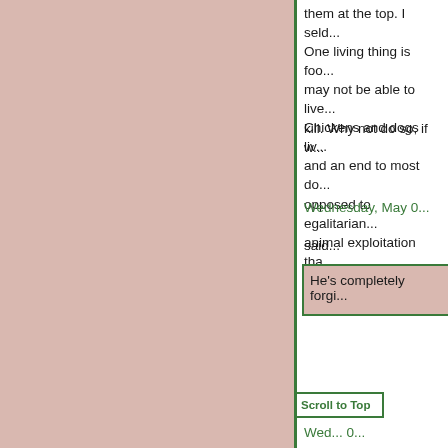them at the top. I seld...
One living thing is foo... may not be able to live... kill. Why not do so, if w...
Chickens and dogs liv... and an end to most do... opposed to egalitarian... animal exploitation tha...
Wednesday, May 0...
Visible said...
He's completely forgi...
Scroll to Top
Wed... 0...